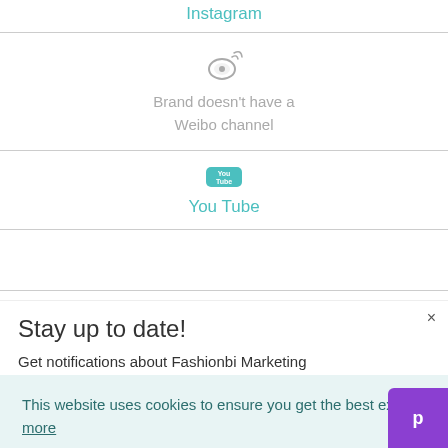Instagram
[Figure (illustration): Weibo icon (grey circular logo with signal waves)]
Brand doesn't have a Weibo channel
[Figure (illustration): YouTube icon (teal YouTube play button logo)]
You Tube
Stay up to date!
Get notifications about Fashionbi Marketing
This website uses cookies to ensure you get the best experience on our website.  Learn more
Got it!